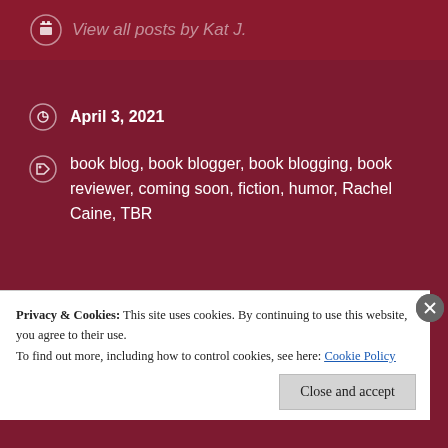View all posts by Kat J.
April 3, 2021
book blog, book blogger, book blogging, book reviewer, coming soon, fiction, humor, Rachel Caine, TBR
Sundown Rundown – March 2021
Speedy Quote Sunday
Privacy & Cookies: This site uses cookies. By continuing to use this website, you agree to their use.
To find out more, including how to control cookies, see here: Cookie Policy
Close and accept